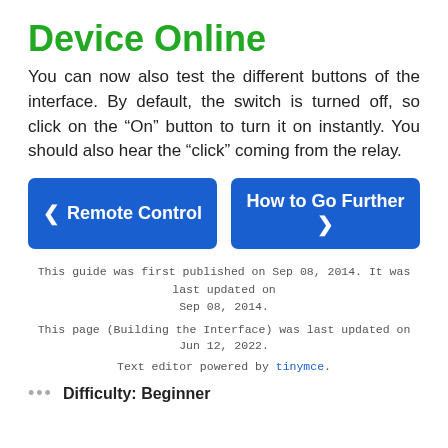Device Online
You can now also test the different buttons of the interface. By default, the switch is turned off, so click on the “On” button to turn it on instantly. You should also hear the “click” coming from the relay.
[Figure (other): Two navigation buttons: '< Remote Control' (blue, left) and 'How to Go Further >' (blue, right)]
This guide was first published on Sep 08, 2014. It was last updated on Sep 08, 2014.
This page (Building the Interface) was last updated on Jun 12, 2022.
Text editor powered by tinymce.
... Difficulty: Beginner